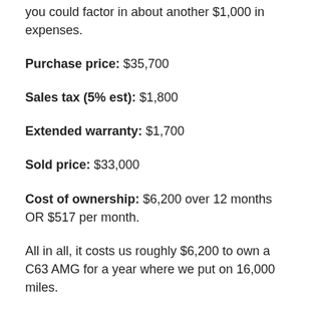you could factor in about another $1,000 in expenses.
Purchase price: $35,700
Sales tax (5% est): $1,800
Extended warranty: $1,700
Sold price: $33,000
Cost of ownership: $6,200 over 12 months OR $517 per month.
All in all, it costs us roughly $6,200 to own a C63 AMG for a year where we put on 16,000 miles.